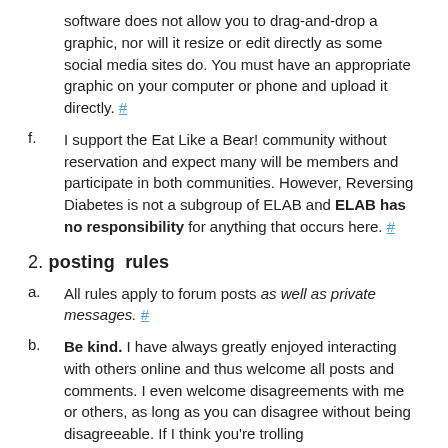software does not allow you to drag-and-drop a graphic, nor will it resize or edit directly as some social media sites do. You must have an appropriate graphic on your computer or phone and upload it directly. #
f. I support the Eat Like a Bear! community without reservation and expect many will be members and participate in both communities. However, Reversing Diabetes is not a subgroup of ELAB and ELAB has no responsibility for anything that occurs here. #
2. posting rules
a. All rules apply to forum posts as well as private messages. #
b. Be kind. I have always greatly enjoyed interacting with others online and thus welcome all posts and comments. I even welcome disagreements with me or others, as long as you can disagree without being disagreeable. If I think you're trolling